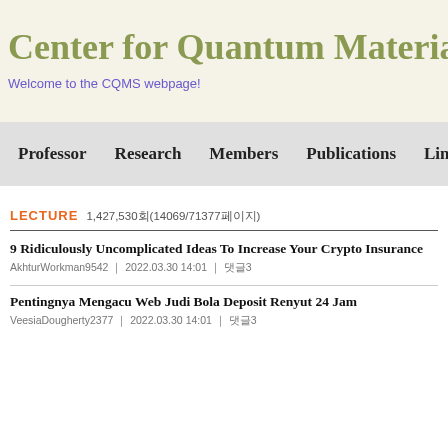Center for Quantum Materials
Welcome to the CQMS webpage!
Professor   Research   Members   Publications   Links
LECTURE   1,427,530회(14069/71377페이지)
9 Ridiculously Uncomplicated Ideas To Increase Your Crypto Insurance
AkhturWorkman9542   |   2022.03.30 14:01   |   댓글3
Pentingnya Mengacu Web Judi Bola Deposit Renyut 24 Jam
VeesiaDougherty2377   |   2022.03.30 14:01   |   댓글3